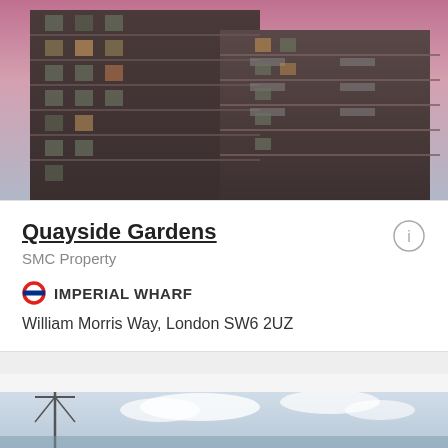[Figure (photo): Exterior view of a modern multi-storey residential apartment building with balconies, brick and glass facade, photographed at dusk with a purple-pink sky.]
Quayside Gardens
SMC Property
IMPERIAL WHARF
William Morris Way, London SW6 2UZ
POA
[Figure (photo): Partial view of the bottom of another property listing showing a building and cloudy sky, with what appears to be a bridge or crane structure on the left.]